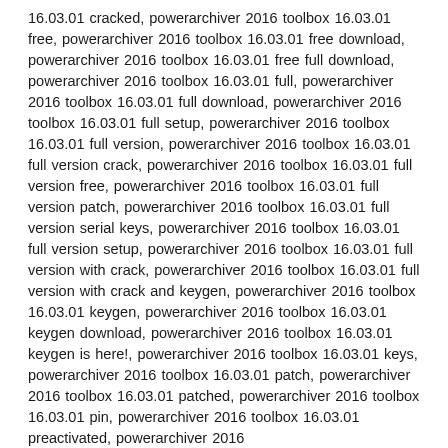16.03.01 cracked, powerarchiver 2016 toolbox 16.03.01 free, powerarchiver 2016 toolbox 16.03.01 free download, powerarchiver 2016 toolbox 16.03.01 free full download, powerarchiver 2016 toolbox 16.03.01 full, powerarchiver 2016 toolbox 16.03.01 full download, powerarchiver 2016 toolbox 16.03.01 full setup, powerarchiver 2016 toolbox 16.03.01 full version, powerarchiver 2016 toolbox 16.03.01 full version crack, powerarchiver 2016 toolbox 16.03.01 full version free, powerarchiver 2016 toolbox 16.03.01 full version patch, powerarchiver 2016 toolbox 16.03.01 full version serial keys, powerarchiver 2016 toolbox 16.03.01 full version setup, powerarchiver 2016 toolbox 16.03.01 full version with crack, powerarchiver 2016 toolbox 16.03.01 full version with crack and keygen, powerarchiver 2016 toolbox 16.03.01 keygen, powerarchiver 2016 toolbox 16.03.01 keygen download, powerarchiver 2016 toolbox 16.03.01 keygen is here!, powerarchiver 2016 toolbox 16.03.01 keys, powerarchiver 2016 toolbox 16.03.01 patch, powerarchiver 2016 toolbox 16.03.01 patched, powerarchiver 2016 toolbox 16.03.01 pin, powerarchiver 2016 toolbox 16.03.01 preactivated, powerarchiver 2016